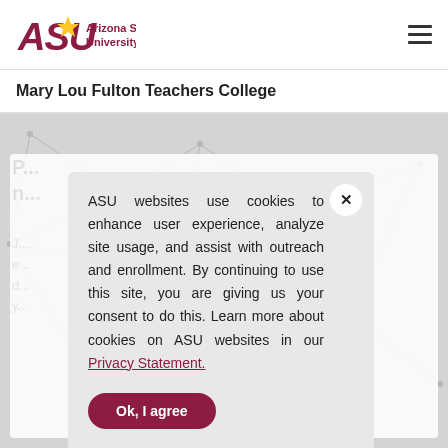[Figure (logo): Arizona State University logo with ASU text in maroon italic and stylized sun icon, followed by 'Arizona State University' text]
Mary Lou Fulton Teachers College
[Figure (screenshot): Background area with light gray network/triangle geometric pattern]
ASU websites use cookies to enhance user experience, analyze site usage, and assist with outreach and enrollment. By continuing to use this site, you are giving us your consent to do this. Learn more about cookies on ASU websites in our Privacy Statement.
Ok, I agree